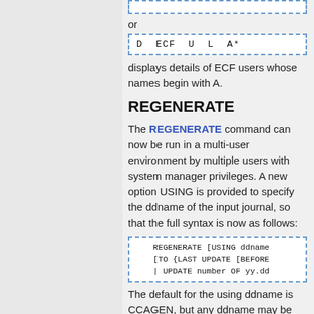[Figure (screenshot): Top partial dashed-border code box (cut off at top of page)]
or
[Figure (screenshot): Code box with: D ECF U L A*]
displays details of ECF users whose names begin with A.
REGENERATE
The REGENERATE command can now be run in a multi-user environment by multiple users with system manager privileges. A new option USING is provided to specify the ddname of the input journal, so that the full syntax is now as follows:
[Figure (screenshot): Code box: REGENERATE [USING ddname [TO {LAST UPDATE [BEFORE | UPDATE number OF yy.dd]
The default for the using ddname is CCAGEN, but any ddname may be